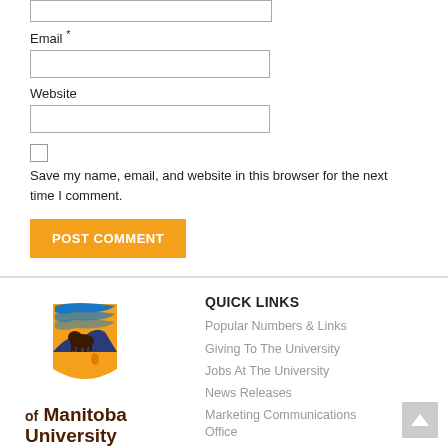Email *
Website
Save my name, email, and website in this browser for the next time I comment.
POST COMMENT
QUICK LINKS
Popular Numbers & Links
Giving To The University
Jobs At The University
News Releases
Marketing Communications Office
[Figure (logo): University of Manitoba logo with bison and shield]